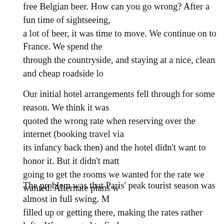free Belgian beer. How can you go wrong? After a fun time of sightseeing, a lot of beer, it was time to move. We continue on to France. We spend the through the countryside, and staying at a nice, clean and cheap roadside lo second night in France, we make it to Paris.
Our initial hotel arrangements fell through for some reason. We think it was quoted the wrong rate when reserving over the internet (booking travel via its infancy back then) and the hotel didn't want to honor it. But it didn't matt going to get the rooms we wanted for the rate we wanted. Alternate plans w made, and fast.
The problem was that Paris' peak tourist season was almost in full swing. M filled up or getting there, making the rates rather lofty. We managed to find close by the center, but it was a bit over our budget. Worse, we can only ge had to share a room with Pop. This quirk caused quite a trial for obvious re reason would be due to Pop's incessantly loud snoring. Having shared roo times in the past, I had forgotten how atrocious his snoring was, until then, that this situation wasn't going to work. At least not for long.
We opted to move to a hotel a little more outside of the center so we can h rooms. We ended up near St. Denis, which was accessible enough to the C Paris' metro and trams, but far enough where room rates were fairly afforda had free parking for the rental car so we wouldn't get killed when parking th